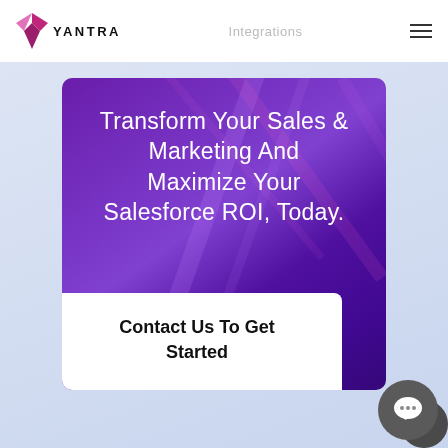[Figure (logo): Yantra logo with stylized Y mark in pink/magenta and text YANTRA in black uppercase letters]
Integrations
Transform Your Sales & Marketing And Maximize Your Salesforce ROI, Today.
Contact Us To Get Started